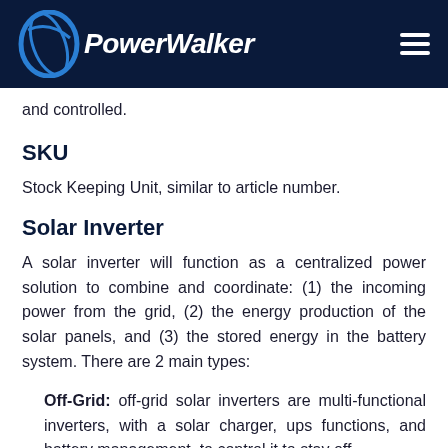PowerWalker
and controlled.
SKU
Stock Keeping Unit, similar to article number.
Solar Inverter
A solar inverter will function as a centralized power solution to combine and coordinate: (1) the incoming power from the grid, (2) the energy production of the solar panels, and (3) the stored energy in the battery system. There are 2 main types:
Off-Grid: off-grid solar inverters are multi-functional inverters, with a solar charger, ups functions, and battery management, to control it to stay off…